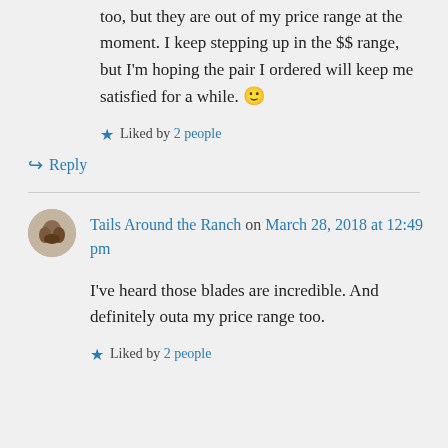too, but they are out of my price range at the moment. I keep stepping up in the $$ range, but I'm hoping the pair I ordered will keep me satisfied for a while. 🙂
★ Liked by 2 people
↪ Reply
Tails Around the Ranch on March 28, 2018 at 12:49 pm
I've heard those blades are incredible. And definitely outa my price range too.
★ Liked by 2 people